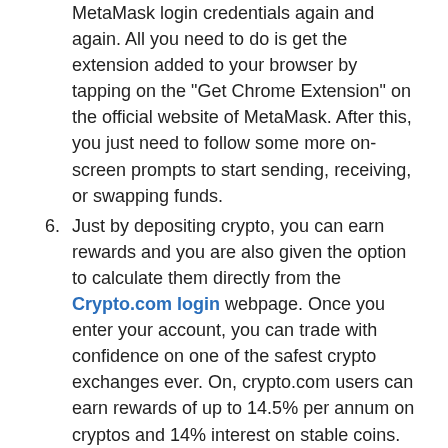MetaMask login credentials again and again. All you need to do is get the extension added to your browser by tapping on the "Get Chrome Extension" on the official website of MetaMask. After this, you just need to follow some more on-screen prompts to start sending, receiving, or swapping funds.
6. Just by depositing crypto, you can earn rewards and you are also given the option to calculate them directly from the Crypto.com login webpage. Once you enter your account, you can trade with confidence on one of the safest crypto exchanges ever. On, crypto.com users can earn rewards of up to 14.5% per annum on cryptos and 14% interest on stable coins.
7. To sell a token on the Crypto.com